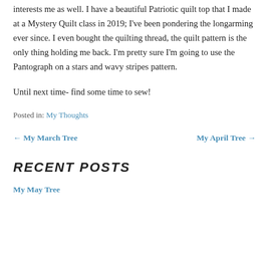interests me as well. I have a beautiful Patriotic quilt top that I made at a Mystery Quilt class in 2019; I've been pondering the longarming ever since. I even bought the quilting thread, the quilt pattern is the only thing holding me back. I'm pretty sure I'm going to use the Pantograph on a stars and wavy stripes pattern.
Until next time- find some time to sew!
Posted in: My Thoughts
← My March Tree   My April Tree →
RECENT POSTS
My May Tree